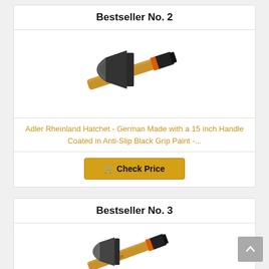Bestseller No. 2
[Figure (photo): Adler Rheinland hatchet with wooden handle and black grip paint, shown diagonally]
Adler Rheinland Hatchet - German Made with a 15 inch Handle Coated in Anti-Slip Black Grip Paint -...
Check Price
Bestseller No. 3
[Figure (photo): Adler hatchet similar to above, with wooden handle and black grip, partial view]